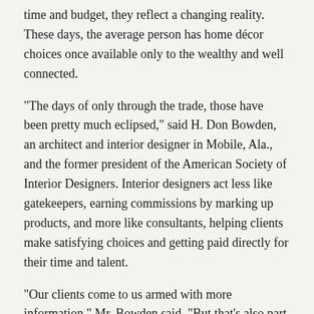time and budget, they reflect a changing reality. These days, the average person has home décor choices once available only to the wealthy and well connected.
"The days of only through the trade, those have been pretty much eclipsed," said H. Don Bowden, an architect and interior designer in Mobile, Ala., and the former president of the American Society of Interior Designers. Interior designers act less like gatekeepers, earning commissions by marking up products, and more like consultants, helping clients make satisfying choices and getting paid directly for their time and talent.
"Our clients come to us armed with more information," Mr. Bowden said. "But that's also part of their problem — that they're too informed. So what they want is someone to tell them what questions to ask."
Andy Bowman, an engineer and consultant in Fairhope, Ala., and one of Mr. Bowden's clients, says he and his wife